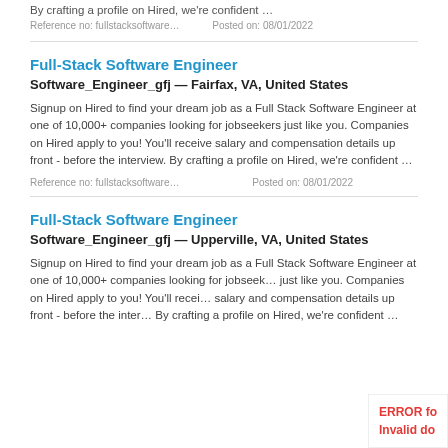By crafting a profile on Hired, we're confident …
Reference no: fullstackso ftware…   Posted on: 08/01/2022
Full-Stack Software Engineer
Software_Engineer_gfj — Fairfax, VA, United States
Signup on Hired to find your dream job as a Full Stack Software Engineer at one of 10,000+ companies looking for jobseekers just like you. Companies on Hired apply to you! You'll receive salary and compensation details up front - before the interview. By crafting a profile on Hired, we're confident …
Reference no: fullstackso ftware…   Posted on: 08/01/2022
Full-Stack Software Engineer
Software_Engineer_gfj — Upperville, VA, United States
Signup on Hired to find your dream job as a Full Stack Software Engineer at one of 10,000+ companies looking for jobseek… just like you. Companies on Hired apply to you! You'll recei… salary and compensation details up front - before the inter… By crafting a profile on Hired, we're confident …